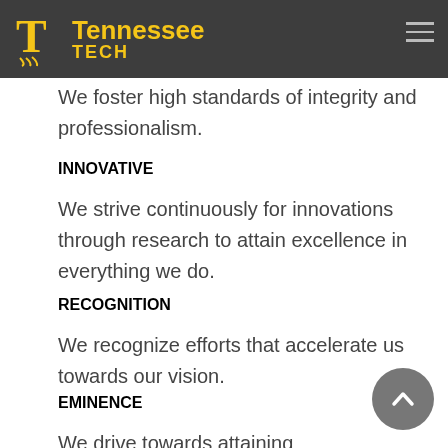Tennessee Tech
We foster high standards of integrity and professionalism.
INNOVATIVE
We strive continuously for innovations through research to attain excellence in everything we do.
RECOGNITION
We recognize efforts that accelerate us towards our vision.
EMINENCE
We drive towards attaining eminence in engineering education and research.